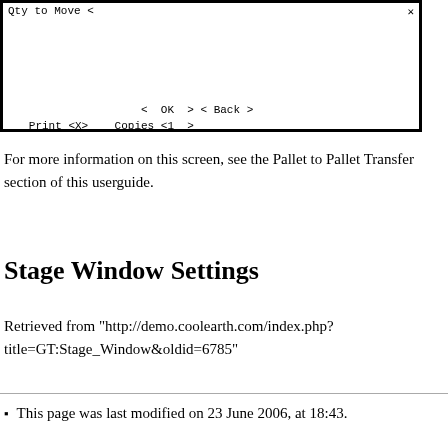[Figure (screenshot): Screenshot of a software dialog showing 'Qty to Move <' title bar with an X close button, fields for Print <X>, Copies <1>, and buttons < OK > < Back >, and status bar 'Enter Track & Bin #s']
For more information on this screen, see the Pallet to Pallet Transfer section of this userguide.
Stage Window Settings
Retrieved from "http://demo.coolearth.com/index.php?title=GT:Stage_Window&oldid=6785"
This page was last modified on 23 June 2006, at 18:43.